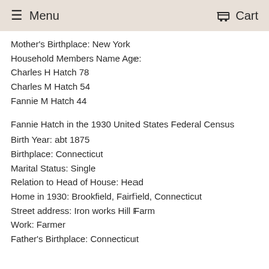Menu  Cart
Mother's Birthplace: New York
Household Members Name Age:
Charles H Hatch 78
Charles M Hatch 54
Fannie M Hatch 44
Fannie Hatch in the 1930 United States Federal Census
Birth Year: abt 1875
Birthplace: Connecticut
Marital Status: Single
Relation to Head of House: Head
Home in 1930: Brookfield, Fairfield, Connecticut
Street address: Iron works Hill Farm
Work: Farmer
Father's Birthplace: Connecticut